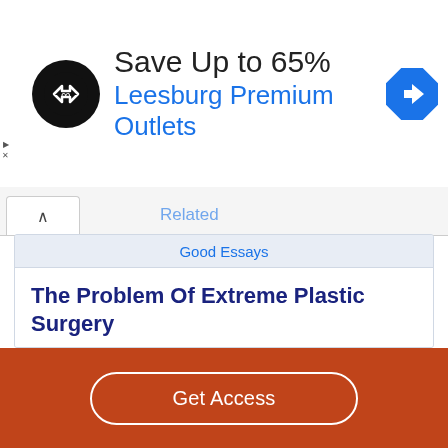[Figure (infographic): Advertisement banner: circular black logo with double arrow icon, text 'Save Up to 65%' and 'Leesburg Premium Outlets' in blue, blue diamond navigation icon on the right]
Related
Good Essays
The Problem Of Extreme Plastic Surgery
1019 Words
5 Pages
Extreme Plastic Surgery means someone who goes overboard with their appearance. Some people spend money to look good, but they do not stop there. They will continue to
Get Access